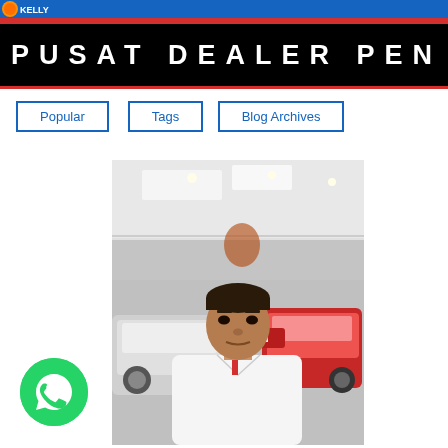PUSAT DEALER PEN
Popular
Tags
Blog Archives
[Figure (photo): A man in a white shirt taking a selfie inside a Honda car dealership showroom, with red and white Honda cars visible in the background.]
[Figure (logo): WhatsApp green circular button icon]